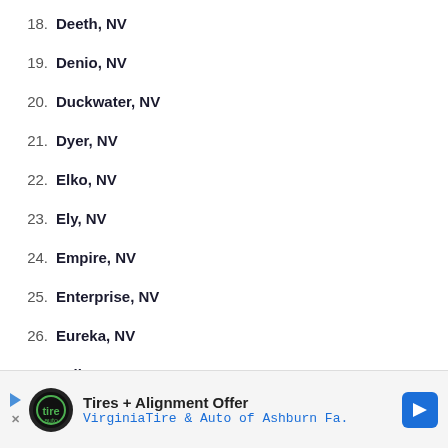18. Deeth, NV
19. Denio, NV
20. Duckwater, NV
21. Dyer, NV
22. Elko, NV
23. Ely, NV
24. Empire, NV
25. Enterprise, NV
26. Eureka, NV
27. Fallon, NV
[Figure (other): Advertisement banner: Tires + Alignment Offer, VirginiaTire & Auto of Ashburn Fa.]